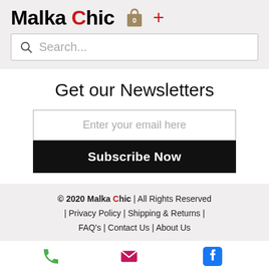Malka Chic
[Figure (screenshot): Search bar with magnifying glass icon and placeholder text 'Search...']
Get our Newsletters
Enter your email here
Subscribe Now
© 2020 Malka Chic | All Rights Reserved | Privacy Policy | Shipping & Returns | FAQ's | Contact Us | About Us
[Figure (infographic): Three contact icons: Phone (green phone), Email (pink envelope), Facebook (blue Facebook icon)]